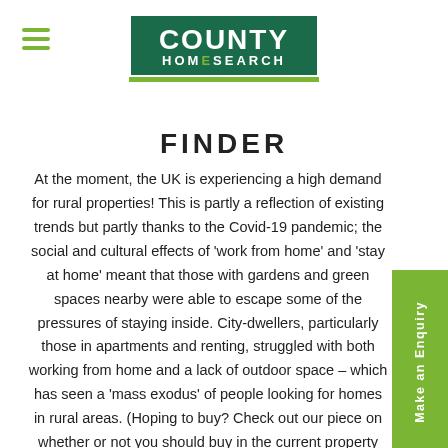[Figure (logo): County Homesearch logo — white text on dark green background with green bar underneath]
FINDER
At the moment, the UK is experiencing a high demand for rural properties! This is partly a reflection of existing trends but partly thanks to the Covid-19 pandemic; the social and cultural effects of 'work from home' and 'stay at home' meant that those with gardens and green spaces nearby were able to escape some of the pressures of staying inside. City-dwellers, particularly those in apartments and renting, struggled with both working from home and a lack of outdoor space – which has seen a 'mass exodus' of people looking for homes in rural areas. (Hoping to buy? Check out our piece on whether or not you should buy in the current property market here).